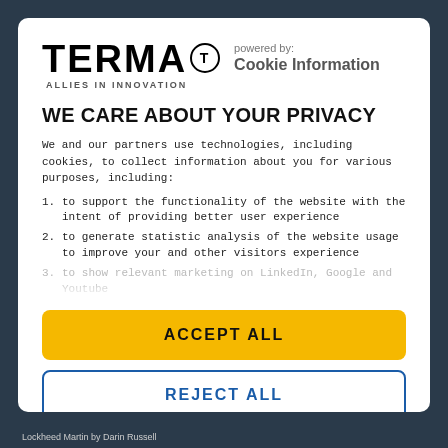[Figure (logo): TERMA logo with circle-T trademark and ALLIES IN INNOVATION tagline, plus 'powered by: Cookie Information' text]
WE CARE ABOUT YOUR PRIVACY
We and our partners use technologies, including cookies, to collect information about you for various purposes, including:
to support the functionality of the website with the intent of providing better user experience
to generate statistic analysis of the website usage to improve your and other visitors experience
to show relevant marketing on LinkedIn, Google and Youtube
ACCEPT ALL
REJECT ALL
Show details
Lockheed Martin by Darin Russell